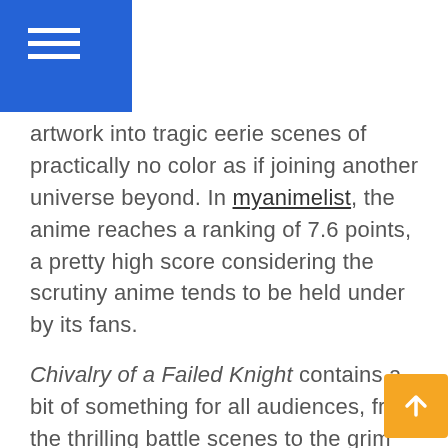[hamburger menu icon on blue background]
artwork into tragic eerie scenes of practically no color as if joining another universe beyond. In myanimelist, the anime reaches a ranking of 7.6 points, a pretty high score considering the scrutiny anime tends to be held under by its fans.
Chivalry of a Failed Knight contains a bit of something for all audiences, from the thrilling battle scenes to the grim truth that is the universe. Although specific circumstances in the anime might not be for you, do not let that deter you from this wonderful story.
Chivalry of a Failed Knight can be accessed by visiting Amazon, Hi-Dive, or Hulu streaming